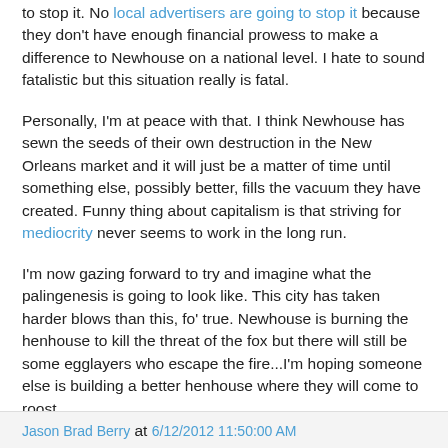to stop it.  No local advertisers are going to stop it because they don't have enough financial prowess to make a difference to Newhouse on a national level.  I hate to sound fatalistic but this situation really is fatal.
Personally, I'm at peace with that.  I think Newhouse has sewn the seeds of their own destruction in the New Orleans market and it will just be a matter of time until something else, possibly better, fills the vacuum they have created.  Funny thing about capitalism is that striving for mediocrity never seems to work in the long run.
I'm now gazing forward to try and imagine what the palingenesis is going to look like.  This city has taken harder blows than this, fo' true.  Newhouse is burning the henhouse to kill the threat of the fox but there will still be some egglayers who escape the fire...I'm hoping someone else is building a better henhouse where they will come to roost.
Next post is what that henhouse may possibly look like.
Jason Brad Berry at 6/12/2012 11:50:00 AM